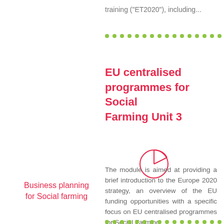training ("ET2020"), including...
[Figure (other): Row of green dots used as a decorative divider]
EU centralised programmes for Social Farming Unit 3
[Figure (pie-chart): Simple pink pie chart icon outline showing a pie with a slice cut out]
Business planning for Social farming
The module is aimed at providing a brief introduction to the Europe 2020 strategy, an overview of the EU funding opportunities with a specific focus on EU centralised programmes for Social Farming.
...
[Figure (other): Row of green dots used as a decorative divider at the bottom]